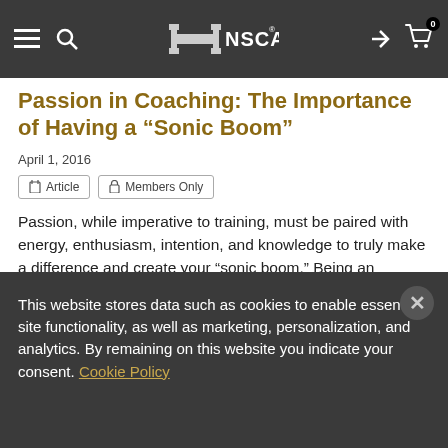NSCA navigation bar
Passion in Coaching: The Importance of Having a “Sonic Boom”
April 1, 2016
Article
Members Only
Passion, while imperative to training, must be paired with energy, enthusiasm, intention, and knowledge to truly make a difference and create your “sonic boom.” Being an effective strength and conditioning coach is a lifestyle, not a job, and with continued passion, you can affect many lives positively.
This website stores data such as cookies to enable essential site functionality, as well as marketing, personalization, and analytics. By remaining on this website you indicate your consent. Cookie Policy